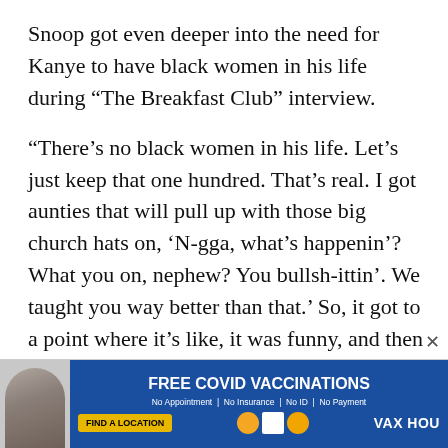Snoop got even deeper into the need for Kanye to have black women in his life during “The Breakfast Club” interview.
“There’s no black women in his life. Let’s just keep that one hundred. That’s real. I got aunties that will pull up with those big church hats on, ‘N-gga, what’s happenin’? What you on, nephew? You bullsh-ittin’. We taught you way better than that.’ So, it got to a point where it’s like, it was funny, and then it got sad,” he said.
[Figure (photo): Advertisement banner: FREE COVID VACCINATIONS. No Appointment, No Insurance, No ID, No Payment. Find a Location button. VAX HOU logo. Features a woman's photo on the left.]